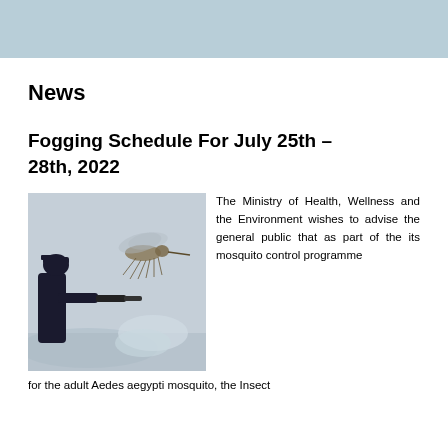News
Fogging Schedule For July 25th – 28th, 2022
[Figure (photo): A person in dark clothing operating a fogging machine with a large mosquito visible in the background against a hazy sky.]
The Ministry of Health, Wellness and the Environment wishes to advise the general public that as part of the its mosquito control programme for the adult Aedes aegypti mosquito, the Insect